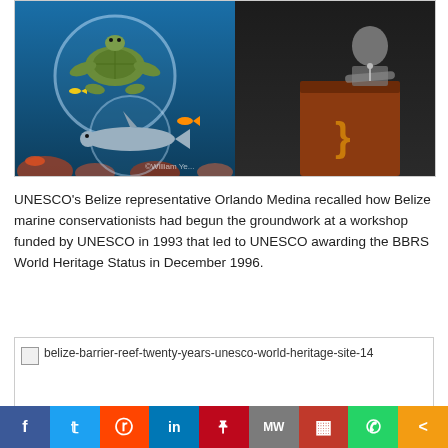[Figure (photo): Two-panel composite photo: left panel shows a colorful underwater scene with a sea turtle, sharks, and tropical fish as part of a decorative display or poster; right panel shows a person standing at a wooden lectern with a logo, appearing to give a speech or presentation. Photographer credit: ©William Ye... visible in lower right.]
UNESCO's Belize representative Orlando Medina recalled how Belize marine conservationists had begun the groundwork at a workshop funded by UNESCO in 1993 that led to UNESCO awarding the BBRS World Heritage Status in December 1996.
[Figure (photo): Broken image placeholder with alt text: belize-barrier-reef-twenty-years-unesco-world-heritage-site-14]